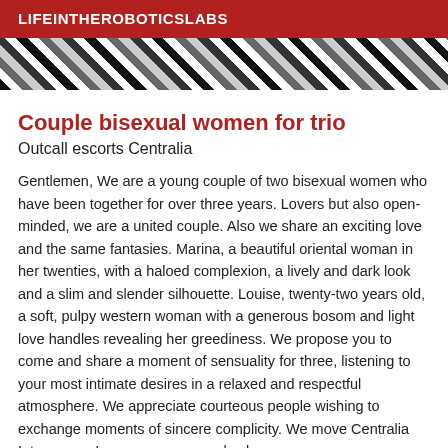LIFEINTHEROBOTICSLABS
[Figure (photo): Black and white patterned banner image with diagonal stripes and abstract shapes]
Couple bisexual women for trio
Outcall escorts Centralia
Gentlemen, We are a young couple of two bisexual women who have been together for over three years. Lovers but also open-minded, we are a united couple. Also we share an exciting love and the same fantasies. Marina, a beautiful oriental woman in her twenties, with a haloed complexion, a lively and dark look and a slim and slender silhouette. Louise, twenty-two years old, a soft, pulpy western woman with a generous bosom and light love handles revealing her greediness. We propose you to come and share a moment of sensuality for three, listening to your most intimate desires in a relaxed and respectful atmosphere. We appreciate courteous people wishing to exchange moments of sincere complicity. We move Centralia Intramuros. In case our proposal echoes